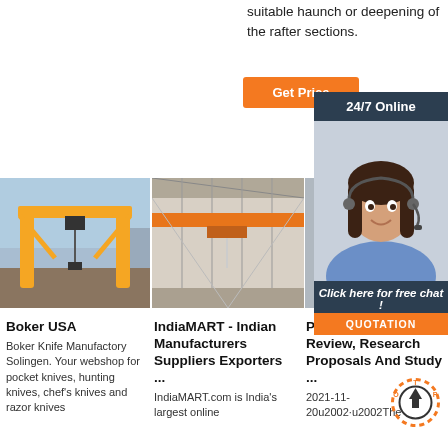suitable haunch or deepening of the rafter sections.
[Figure (photo): Orange Get Price button]
[Figure (infographic): 24/7 Online banner with customer service representative and QUOTATION button]
[Figure (photo): Yellow gantry crane outdoor]
[Figure (photo): Overhead crane inside industrial warehouse]
[Figure (photo): Overhead crane inside factory partial view]
Boker USA
Boker Knife Manufactory Solingen. Your webshop for pocket knives, hunting knives, chef's knives and razor knives
IndiaMART - Indian Manufacturers Suppliers Exporters ...
IndiaMART.com is India's largest online
Procedure: Internal Review, Research Proposals And Study ...
2021-11-20u2002·u2002The